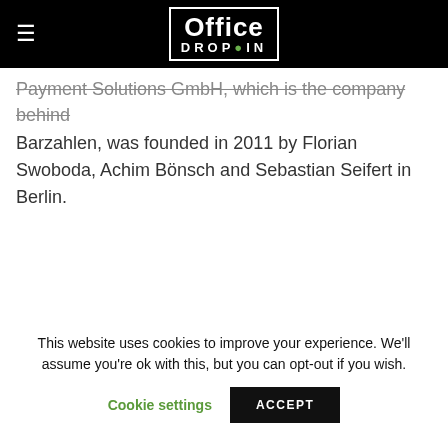Office DROP-IN
Payment Solutions GmbH, which is the company behind Barzahlen, was founded in 2011 by Florian Swoboda, Achim Bönsch and Sebastian Seifert in Berlin.
This website uses cookies to improve your experience. We'll assume you're ok with this, but you can opt-out if you wish.